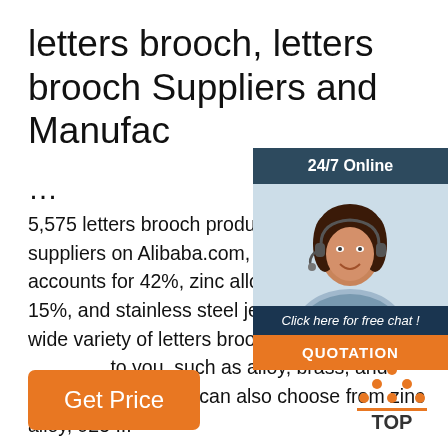letters brooch, letters brooch Suppliers and Manufacturers ...
5,575 letters brooch products are offered by suppliers on Alibaba.com, of which brooch accounts for 42%, zinc alloy jewelry accounts 15%, and stainless steel jewelry accounts. A wide variety of letters brooch options are available to you, such as alloy, brass, and stainless steel. You can also choose from zinc alloy, 925 ...
[Figure (illustration): Chat widget with 24/7 Online banner, photo of customer service representative with headset, 'Click here for free chat!' text, and QUOTATION button]
[Figure (illustration): TOP button with orange dot triangle logo above text]
Get Price